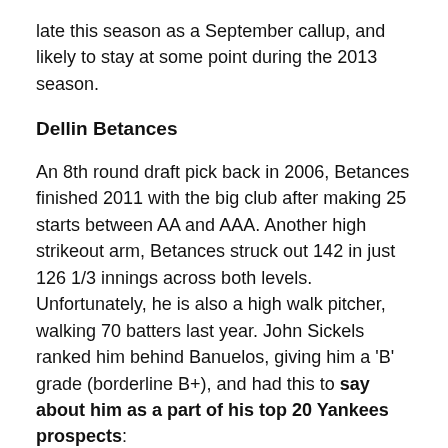late this season as a September callup, and likely to stay at some point during the 2013 season.
Dellin Betances
An 8th round draft pick back in 2006, Betances finished 2011 with the big club after making 25 starts between AA and AAA. Another high strikeout arm, Betances struck out 142 in just 126 1/3 innings across both levels. Unfortunately, he is also a high walk pitcher, walking 70 batters last year. John Sickels ranked him behind Banuelos, giving him a 'B' grade (borderline B+), and had this to say about him as a part of his top 20 Yankees prospects:
He's got plenty of stuff but command wobbles prevent the B+ at